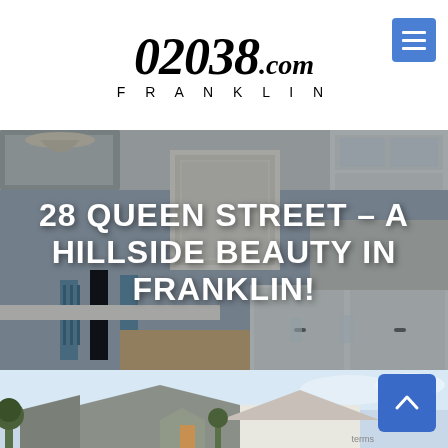[Figure (logo): 02038.com Franklin website logo with italic bold numerals and FRANKLIN spelled out below]
[Figure (other): Hamburger menu button (blue square with three white horizontal lines)]
[Figure (photo): Hero image of a kitchen interior with blue bar stools, white cabinets, wood table, framed wall art, overlaid with white bold uppercase text reading: 28 QUEEN STREET – A HILLSIDE BEAUTY IN FRANKLIN!]
28 QUEEN STREET – A HILLSIDE BEAUTY IN FRANKLIN!
[Figure (photo): Partial exterior photo strip at bottom showing rooftops of houses against a blue sky]
[Figure (other): Blue back-to-top button with upward chevron arrow in bottom right corner]